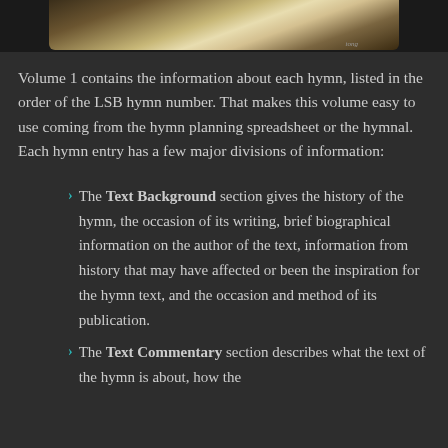[Figure (photo): Top portion of a photo showing books or a hymnal on a wooden surface, partially cropped at top of page]
Volume 1 contains the information about each hymn, listed in the order of the LSB hymn number. That makes this volume easy to use coming from the hymn planning spreadsheet or the hymnal. Each hymn entry has a few major divisions of information:
The Text Background section gives the history of the hymn, the occasion of its writing, brief biographical information on the author of the text, information from history that may have affected or been the inspiration for the hymn text, and the occasion and method of its publication.
The Text Commentary section describes what the text of the hymn is about, how the